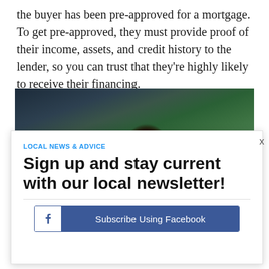the buyer has been pre-approved for a mortgage. To get pre-approved, they must provide proof of their income, assets, and credit history to the lender, so you can trust that they're highly likely to receive their financing.
[Figure (photo): Photo of a person with dark hair viewed from behind/side, standing near a dark blue wall and green foliage/plants in the background.]
LOCAL NEWS & ADVICE
Sign up and stay current with our local newsletter!
Subscribe Using Facebook